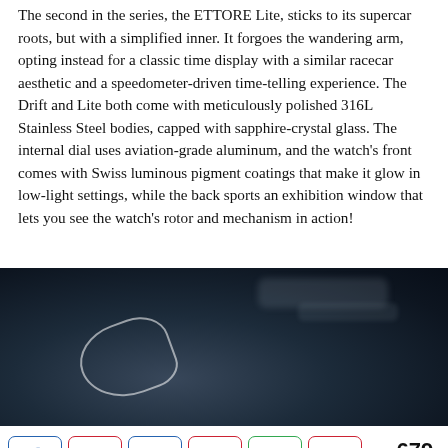The second in the series, the ETTORE Lite, sticks to its supercar roots, but with a simplified inner. It forgoes the wandering arm, opting instead for a classic time display with a similar racecar aesthetic and a speedometer-driven time-telling experience. The Drift and Lite both come with meticulously polished 316L Stainless Steel bodies, capped with sapphire-crystal glass. The internal dial uses aviation-grade aluminum, and the watch's front comes with Swiss luminous pigment coatings that make it glow in low-light settings, while the back sports an exhibition window that lets you see the watch's rotor and mechanism in action!
[Figure (photo): Dark close-up photo of what appears to be a watch or automotive interior detail, with a faint curved highlight shape visible against a very dark background.]
679 SHARES — sharing buttons for Facebook, Pinterest, LinkedIn, Flipboard, WhatsApp, Pocket